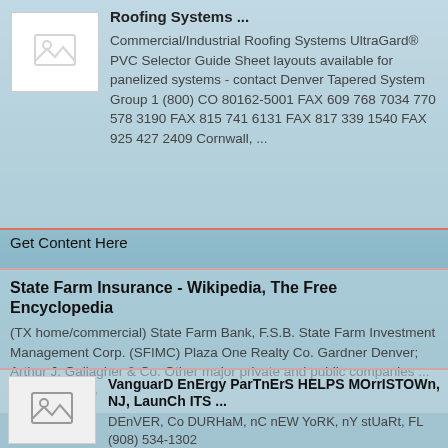Roofing Systems ...
Commercial/Industrial Roofing Systems UltraGard® PVC Selector Guide Sheet layouts available for panelized systems - contact Denver Tapered System Group 1 (800) CO 80162-5001 FAX 609 768 7034 770 578 3190 FAX 815 741 6131 FAX 817 339 1540 FAX 925 427 2409 Cornwall, ...
Get Content Here
State Farm Insurance - Wikipedia, The Free Encyclopedia
(TX home/commercial) State Farm Bank, F.S.B. State Farm Investment Management Corp. (SFIMC) Plaza One Realty Co. Gardner Denver; Arthur J. Gallagher & Co. Other major private and public companies ... Read Article
VanguarD EnErgy ParTnErS HELPS MOrrISTOWn, NJ, LaunCh ITS ...
DEnVER, Co DURHaM, nC nEW YoRK, nY stUaRt, FL (908) 534-1302